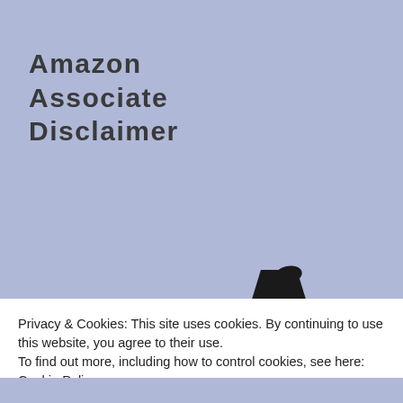Amazon Associate Disclaimer
[Figure (illustration): Cartoon wizard character wearing a black pointed hat with a crescent moon symbol, glasses, and holding a pencil. Only the upper portion of the character is visible.]
Privacy & Cookies: This site uses cookies. By continuing to use this website, you agree to their use.
To find out more, including how to control cookies, see here: Cookie Policy
Close and accept